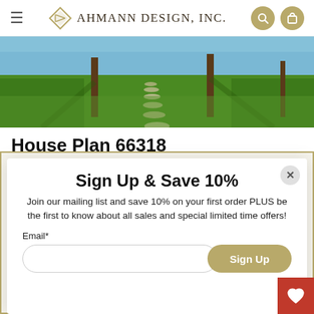Ahmann Design, Inc.
[Figure (photo): Outdoor lawn with stepping stone path between trees]
House Plan 66318
from $1,984.08
Sign Up & Save 10%
Join our mailing list and save 10% on your first order PLUS be the first to know about all sales and special limited time offers!
Email*
Sign Up